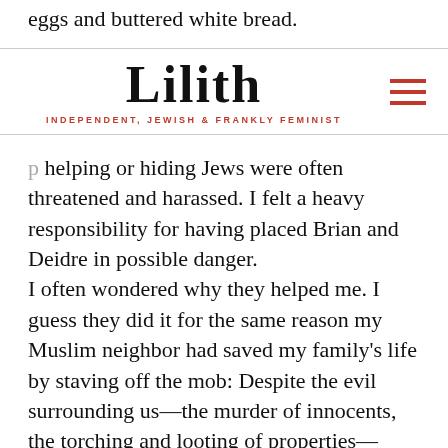eggs and buttered white bread.
Lilith — INDEPENDENT, JEWISH & FRANKLY FEMINIST
helping or hiding Jews were often threatened and harassed. I felt a heavy responsibility for having placed Brian and Deidre in possible danger.
I often wondered why they helped me. I guess they did it for the same reason my Muslim neighbor had saved my family's life by staving off the mob: Despite the evil surrounding us—the murder of innocents, the torching and looting of properties— there was still goodness in some people.